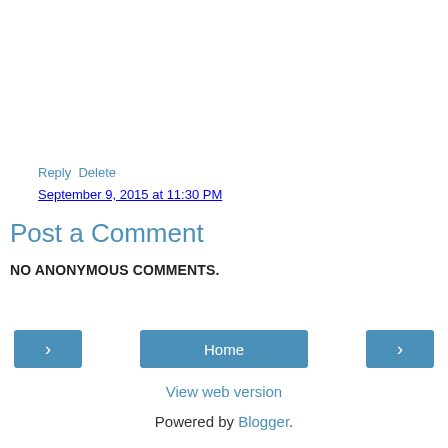Reply  Delete
September 9, 2015 at 11:30 PM
Post a Comment
NO ANONYMOUS COMMENTS.
‹  Home  ›
View web version
Powered by Blogger.